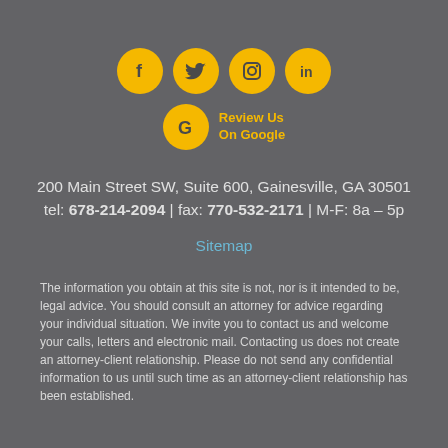[Figure (illustration): Four social media icon circles (Facebook, Twitter, Instagram, LinkedIn) in gold/yellow, arranged horizontally. Below them, a Google 'G' circle icon with 'Review Us On Google' text in gold.]
200 Main Street SW, Suite 600, Gainesville, GA 30501
tel: 678-214-2094 | fax: 770-532-2171 | M-F: 8a – 5p
Sitemap
The information you obtain at this site is not, nor is it intended to be, legal advice. You should consult an attorney for advice regarding your individual situation. We invite you to contact us and welcome your calls, letters and electronic mail. Contacting us does not create an attorney-client relationship. Please do not send any confidential information to us until such time as an attorney-client relationship has been established.